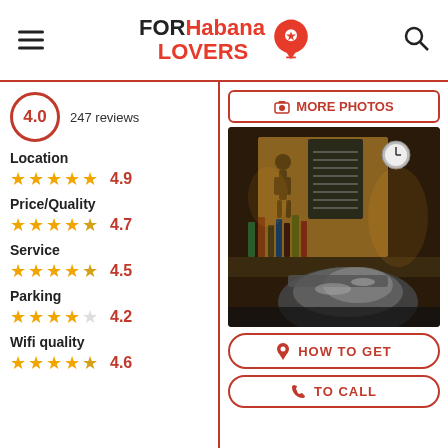FOR Habana LOVERS
4.0   247 reviews
Location 4.9
Price/Quality 4.7
Service 4.5
Parking 4.2
Wifi quality 4.6
[Figure (photo): Interior of a bar in Havana, dimly lit with bottles, a statue, and bar equipment in the foreground]
MORE PHOTOS
HOW TO GET
TO CALL